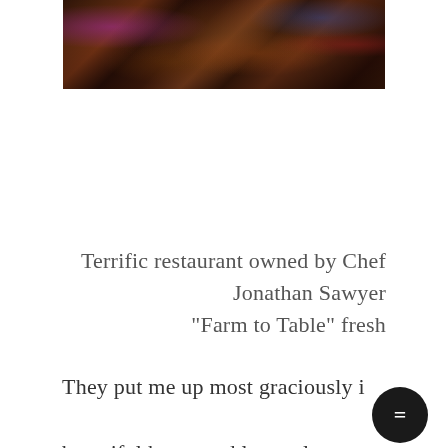[Figure (photo): Interior of a busy restaurant at night with colorful lights, people dining, and a lively atmosphere. Warm, dimly lit space with purple, blue, and warm amber lighting.]
Terrific restaurant owned by Chef Jonathan Sawyer
"Farm to Table" fresh
They put me up most graciously in their beautiful home and let me love on their sweet dog Zuka. I always miss Belle, my